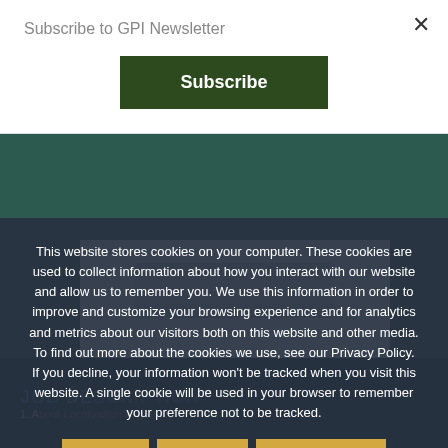Subscribe to GPI Newsletter
[Figure (screenshot): Green Subscribe button]
[Figure (screenshot): Book cover showing LOCALIZATION ENGINEERING text on white background with laptop image above]
This website stores cookies on your computer. These cookies are used to collect information about how you interact with our website and allow us to remember you. We use this information in order to improve and customize your browsing experience and for analytics and metrics about our visitors both on this website and other media. To find out more about the cookies we use, see our Privacy Policy. If you decline, your information won't be tracked when you visit this website. A single cookie will be used in your browser to remember your preference not to be tracked.
Accept
Decline
Privacy policy